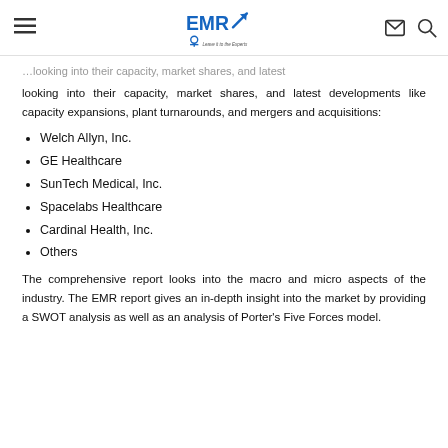EMR — Leave it to the Experts (logo header)
looking into their capacity, market shares, and latest developments like capacity expansions, plant turnarounds, and mergers and acquisitions:
Welch Allyn, Inc.
GE Healthcare
SunTech Medical, Inc.
Spacelabs Healthcare
Cardinal Health, Inc.
Others
The comprehensive report looks into the macro and micro aspects of the industry. The EMR report gives an in-depth insight into the market by providing a SWOT analysis as well as an analysis of Porter's Five Forces model.